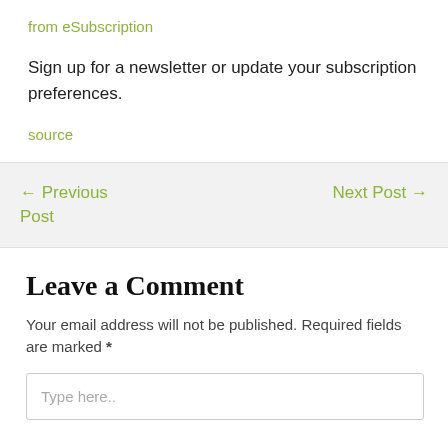from eSubscription
Sign up for a newsletter or update your subscription preferences.
source
← Previous Post
Next Post →
Leave a Comment
Your email address will not be published. Required fields are marked *
Type here..